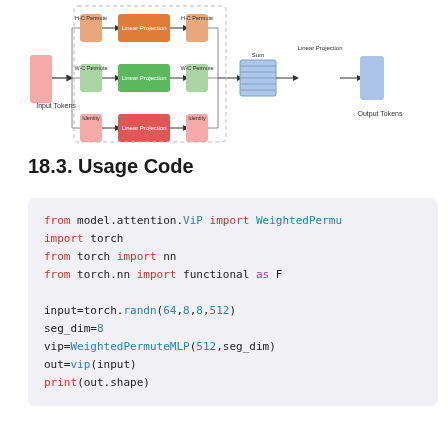[Figure (schematic): Architecture diagram showing ViP (Weighted Permute MLP) block with Input Tokens on the left, three parallel branches with H-C Permute/Linear Projection/H-C Permute (orange), W-C Permute/Linear Projection/W-C Permute (green), and Identity/Linear Projection/Identity (red), followed by Sum and Linear Projection outputting to Output Tokens on the right.]
18.3. Usage Code
from model.attention.ViP import WeightedPermu
import torch
from torch import nn
from torch.nn import functional as F

input=torch.randn(64,8,8,512)
seg_dim=8
vip=WeightedPermuteMLP(512,seg_dim)
out=vip(input)
print(out.shape)